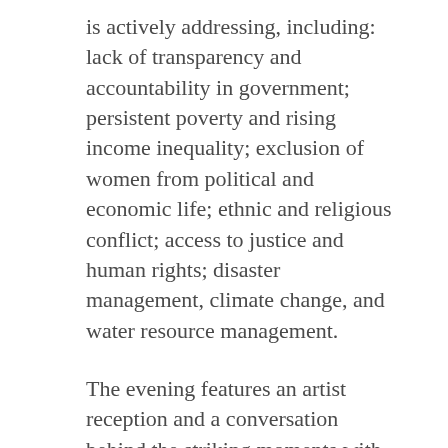is actively addressing, including: lack of transparency and accountability in government; persistent poverty and rising income inequality; exclusion of women from political and economic life; ethnic and religious conflict; access to justice and human rights; disaster management, climate change, and water resource management.
The evening features an artist reception and a conversation behind the striking moments with The Asia Foundation photographer Ted Alcorn and Alastair Gee, San Francisco-based correspondent of Monocle, a global magazine on international affairs.
This exhibit is at the World Affairs Council through October 22. S...